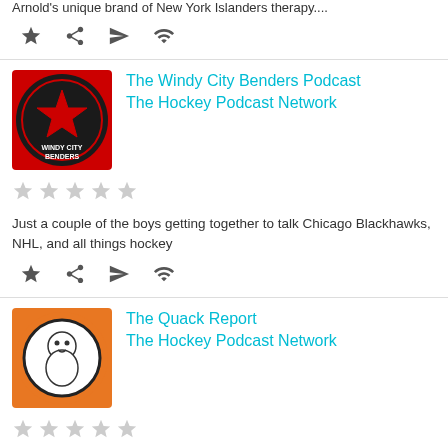Arnold's unique brand of New York Islanders therapy....
[Figure (infographic): Row of 4 icons: star, share, send/paper-plane, wifi]
[Figure (illustration): Windy City Benders podcast logo - black circle with red star]
The Windy City Benders Podcast
The Hockey Podcast Network
[Figure (infographic): 5 empty star rating icons]
Just a couple of the boys getting together to talk Chicago Blackhawks, NHL, and all things hockey
[Figure (infographic): Row of 4 icons: star, share, send/paper-plane, wifi]
[Figure (illustration): The Quack Report podcast logo - orange circle with cartoon character]
The Quack Report
The Hockey Podcast Network
[Figure (infographic): 5 empty star rating icons]
You don't have any episodes in your queue
Start to listen to an episode